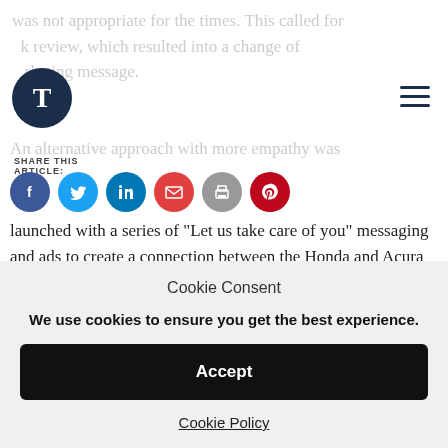was not appropriate for the times. This called for a review, which resulted into a change of marketing message.
[Figure (logo): Dark navy circle logo with white letter T]
[Figure (other): Hamburger menu icon (three horizontal lines)]
An alternative approach with more empathy was launched with a series of “Let us take care of you” messaging and ads to create a connection between the Honda and Acura dealerships with their customers.
SHARE THIS ARTICLE:
[Figure (other): Social share icons: Facebook, Twitter, LinkedIn, Email, Print, Pinterest]
Cookie Consent
We use cookies to ensure you get the best experience.
Accept
Cookie Policy